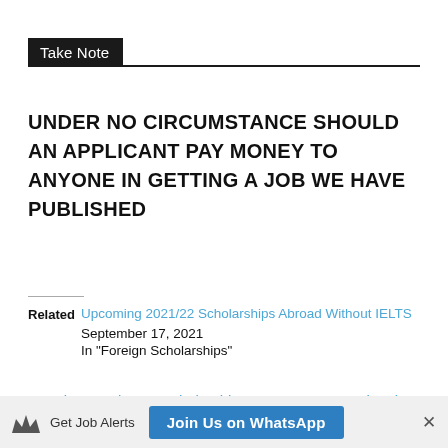Take Note
UNDER NO CIRCUMSTANCE SHOULD AN APPLICANT PAY MONEY TO ANYONE IN GETTING A JOB WE HAVE PUBLISHED
Related
Upcoming 2021/22 Scholarships Abroad Without IELTS
September 17, 2021
In "Foreign Scholarships"
American Embassy Scholarships 2022 For International Students
Get Job Alerts  Join Us on WhatsApp  ×